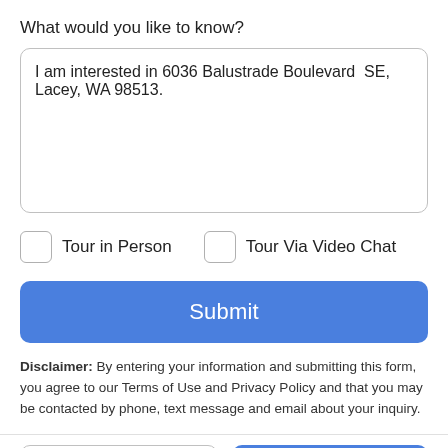What would you like to know?
I am interested in 6036 Balustrade Boulevard  SE, Lacey, WA 98513.
Tour in Person
Tour Via Video Chat
Submit
Disclaimer: By entering your information and submitting this form, you agree to our Terms of Use and Privacy Policy and that you may be contacted by phone, text message and email about your inquiry.
Take a Tour
Ask A Question